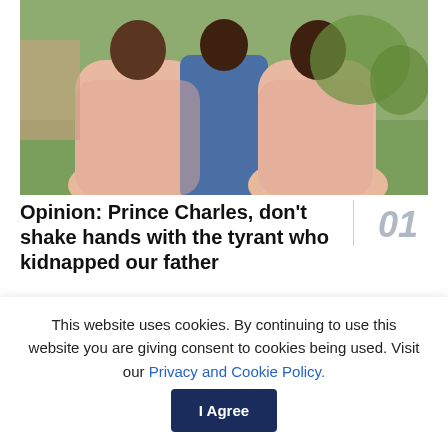[Figure (photo): Three people standing outdoors — a man in a blue suit flanked by two women in long peach/blush gowns, green grass in background.]
Opinion: Prince Charles, don't shake hands with the tyrant who kidnapped our father
0 SHARES
A lot of young women worry about the end of Roe. I would
This website uses cookies. By continuing to use this website you are giving consent to cookies being used. Visit our Privacy and Cookie Policy.
I Agree